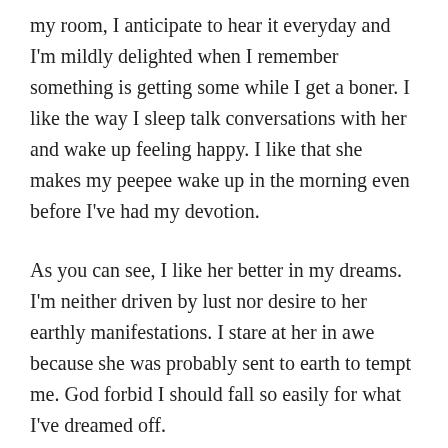my room, I anticipate to hear it everyday and I'm mildly delighted when I remember something is getting some while I get a boner. I like the way I sleep talk conversations with her and wake up feeling happy. I like that she makes my peepee wake up in the morning even before I've had my devotion.
As you can see, I like her better in my dreams. I'm neither driven by lust nor desire to her earthly manifestations. I stare at her in awe because she was probably sent to earth to tempt me. God forbid I should fall so easily for what I've dreamed off.
As she talks and smiles, revealing more details that I probably missed in the dream, I take a mental note to inculcate them into the dream. I still look for her quirks.